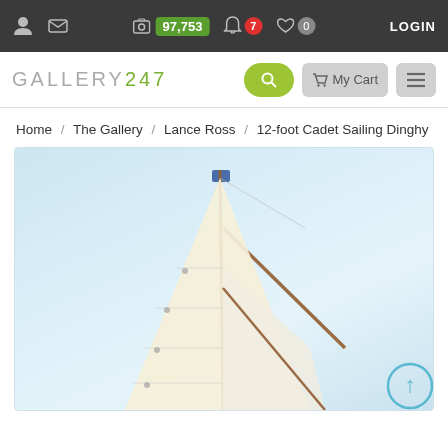Gallery247 top navigation bar with user icon, mail icon, photo count 97,753, notifications 7, favorites 0, LOGIN
GALLERY247
Home / The Gallery / Lance Ross / 12-foot Cadet Sailing Dinghy
[Figure (photo): Photograph of a 12-foot Cadet sailing dinghy sail and mast against a light blue sky, with a small blue flag at the top of the mast and ropes/rigging visible.]